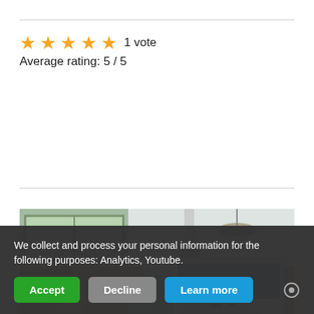★★★★★ 1 vote
Average rating: 5 / 5
[Figure (photo): Interior of a meeting or conference room with curtained windows on the left, a projection screen on the right showing a presentation, and several attendees seated and standing.]
We collect and process your personal information for the following purposes: Analytics, Youtube.
Accept  Decline  Learn more